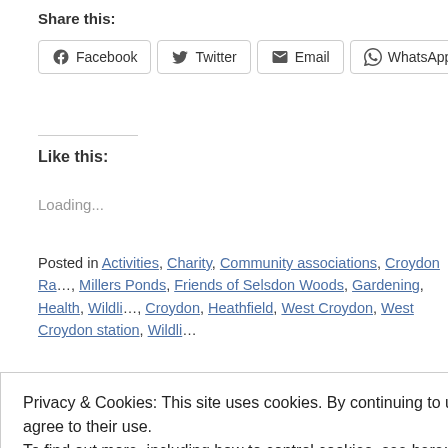Share this:
[Figure (infographic): Social share buttons: Facebook, Twitter, Email, WhatsApp, More]
Like this:
Loading...
Posted in Activities, Charity, Community associations, Croydon Ra..., Millers Ponds, Friends of Selsdon Woods, Gardening, Health, Wildli..., Croydon, Heathfield, West Croydon, West Croydon station, Wildli...
Privacy & Cookies: This site uses cookies. By continuing to use this website, you agree to their use.
To find out more, including how to control cookies, see here: Cookie Policy
a baked … Continue reading →